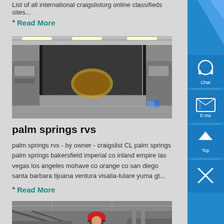List of all international craigslistorg online classifieds sites...
+ Read More
[Figure (photo): Warehouse interior with large industrial equipment, dark netting/curtains visible]
palm springs rvs
palm springs rvs - by owner - craigslist CL palm springs palm springs bakersfield imperial co inland empire las vegas los angeles mohave co orange co san diego santa barbara tijuana ventura visalia-tulare yuma gt...
+ Read More
[Figure (photo): Worker in red hard hat working on industrial equipment in a warehouse]
[Figure (infographic): Blue sidebar with chat, email, and top navigation icons]